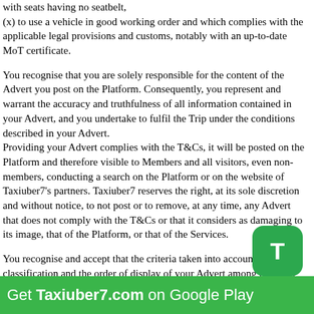with seats having no seatbelt,
(x) to use a vehicle in good working order and which complies with the applicable legal provisions and customs, notably with an up-to-date MoT certificate.
You recognise that you are solely responsible for the content of the Advert you post on the Platform. Consequently, you represent and warrant the accuracy and truthfulness of all information contained in your Advert, and you undertake to fulfil the Trip under the conditions described in your Advert.
Providing your Advert complies with the T&Cs, it will be posted on the Platform and therefore visible to Members and all visitors, even non-members, conducting a search on the Platform or on the website of Taxiuber7's partners. Taxiuber7 reserves the right, at its sole discretion and without notice, to not post or to remove, at any time, any Advert that does not comply with the T&Cs or that it considers as damaging to its image, that of the Platform, or that of the Services.
You recognise and accept that the criteria taken into account in the classification and the order of display of your Advert among the other Adverts are at the sole discretion of Taxiuber7. 4. Nature of the Seat booking and terms of use of the Services on behalf of a third party
Get Taxiuber7.com on Google Play